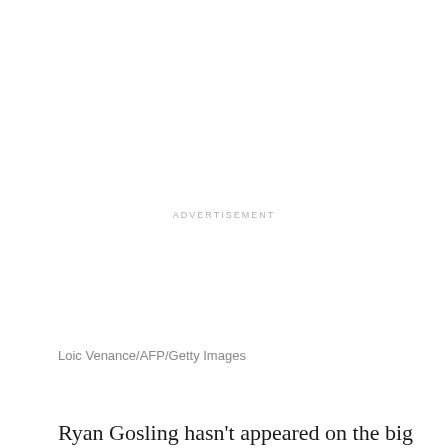ADVERTISEMENT
Loic Venance/AFP/Getty Images
Ryan Gosling hasn't appeared on the big screen since last year, but his next big film project is now officially in the works. The actor is teaming up with Russell Crowe for Warner Bros.' upcoming detective thriller, The Nice Guys, set for release in summer 2016.